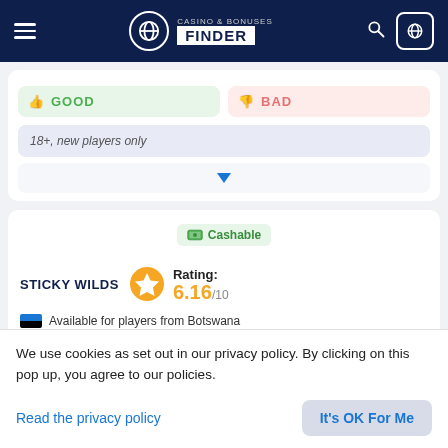Casino & Bonuses Finder
GOOD
BAD
18+, new players only
Cashable
STICKY WILDS — Rating: 6.16/10
Available for players from Botswana
We use cookies as set out in our privacy policy. By clicking on this pop up, you agree to our policies.
Read the privacy policy
It's OK For Me